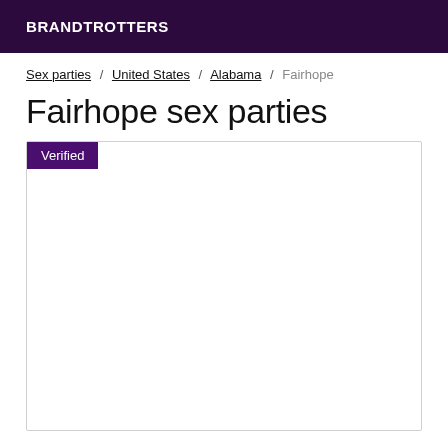BRANDTROTTERS
Sex parties / United States / Alabama / Fairhope
Fairhope sex parties
[Figure (other): Card with 'Verified' badge in dark purple, white content area below]